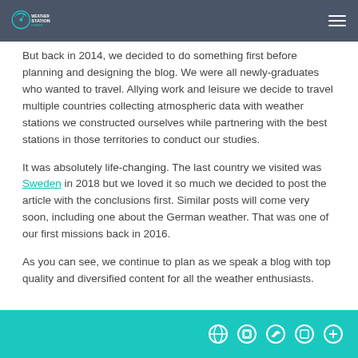Weather Station Finder — navigation header
But back in 2014, we decided to do something first before planning and designing the blog. We were all newly-graduates who wanted to travel. Allying work and leisure we decide to travel multiple countries collecting atmospheric data with weather stations we constructed ourselves while partnering with the best stations in those territories to conduct our studies.
It was absolutely life-changing. The last country we visited was Sweden in 2018 but we loved it so much we decided to post the article with the conclusions first. Similar posts will come very soon, including one about the German weather. That was one of our first missions back in 2016.
As you can see, we continue to plan as we speak a blog with top quality and diversified content for all the weather enthusiasts.
Footer with social media icons